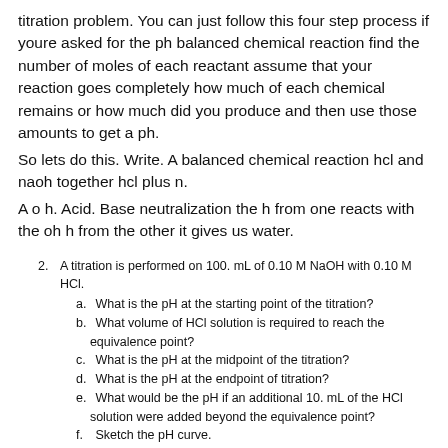titration problem. You can just follow this four step process if youre asked for the ph balanced chemical reaction find the number of moles of each reactant assume that your reaction goes completely how much of each chemical remains or how much did you produce and then use those amounts to get a ph.
So lets do this. Write. A balanced chemical reaction hcl and naoh together hcl plus n.
A o h. Acid. Base neutralization the h from one reacts with the oh h from the other it gives us water.
2. A titration is performed on 100. mL of 0.10 M NaOH with 0.10 M HCl.
a. What is the pH at the starting point of the titration?
b. What volume of HCl solution is required to reach the equivalence point?
c. What is the pH at the midpoint of the titration?
d. What is the pH at the endpoint of titration?
e. What would be the pH if an additional 10. mL of the HCl solution were added beyond the equivalence point?
f. Sketch the pH curve.